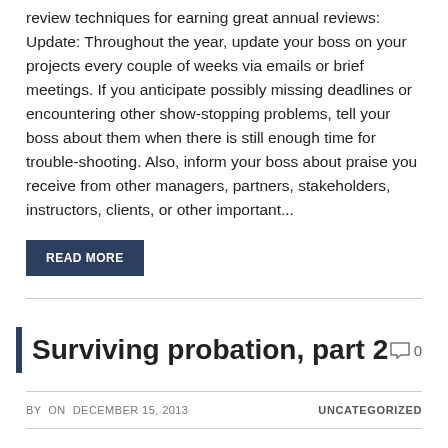review techniques for earning great annual reviews: Update: Throughout the year, update your boss on your projects every couple of weeks via emails or brief meetings. If you anticipate possibly missing deadlines or encountering other show-stopping problems, tell your boss about them when there is still enough time for trouble-shooting. Also, inform your boss about praise you receive from other managers, partners, stakeholders, instructors, clients, or other important...
READ MORE
Surviving probation, part 2
BY ON DECEMBER 15, 2013   UNCATEGORIZED